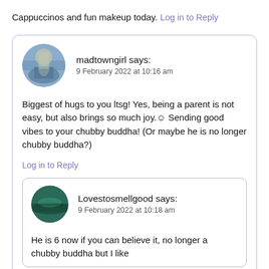Cappuccinos and fun makeup today.
Log in to Reply
madtowngirl says:
9 February 2022 at 10:16 am
Biggest of hugs to you ltsg! Yes, being a parent is not easy, but also brings so much joy.☺ Sending good vibes to your chubby buddha! (Or maybe he is no longer chubby buddha?)
Log in to Reply
Lovestosmellgood says:
9 February 2022 at 10:18 am
He is 6 now if you can believe it, no longer a chubby buddha but I like